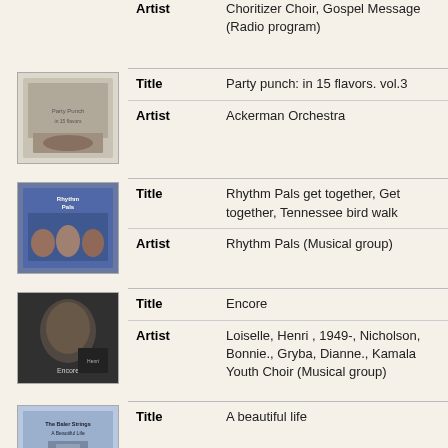Artist: Choritizer Choir, Gospel Message (Radio program)
| Field | Value |
| --- | --- |
| Title | Party punch: in 15 flavors. vol.3 |
| Artist | Ackerman Orchestra |
| Field | Value |
| --- | --- |
| Title | Rhythm Pals get together, Get together, Tennessee bird walk |
| Artist | Rhythm Pals (Musical group) |
| Field | Value |
| --- | --- |
| Title | Encore |
| Artist | Loiselle, Henri , 1949-, Nicholson, Bonnie., Gryba, Dianne., Kamala Youth Choir (Musical group) |
| Field | Value |
| --- | --- |
| Title | A beautiful life |